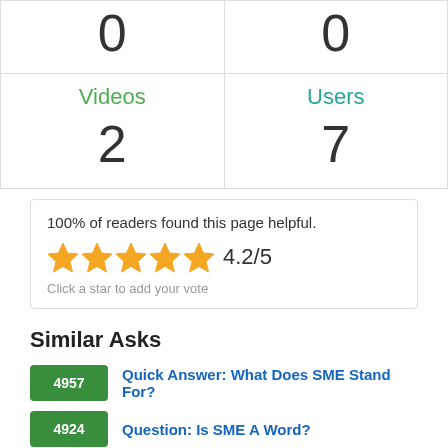| 0 | 0 |
| Videos
2 | Users
7 |
100% of readers found this page helpful.
★★★★★ 4.2/5
Click a star to add your vote
Similar Asks
4957 Quick Answer: What Does SME Stand For?
4924 Question: Is SME A Word?